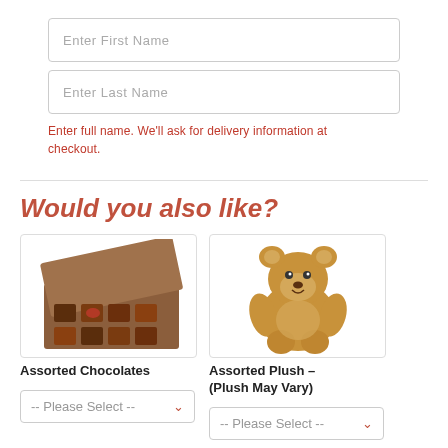Enter First Name
Enter Last Name
Enter full name. We'll ask for delivery information at checkout.
Would you also like?
[Figure (photo): Open box of assorted chocolates with various chocolate pieces visible]
Assorted Chocolates
-- Please Select --
[Figure (photo): Stuffed teddy bear plush toy, tan/brown colored]
Assorted Plush - (Plush May Vary)
-- Please Select --